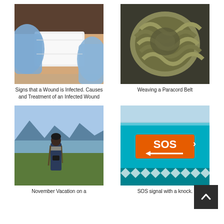[Figure (photo): Medical gloved hands applying a white bandage/dressing to a wound on a person's arm]
Signs that a Wound is Infected. Causes and Treatment of an Infected Wound
[Figure (photo): Coiled braided paracord rope knot against a dark background]
Weaving a Paracord Belt
[Figure (photo): Person with camera in mountainous landscape with water and mountains in background]
November Vacation on a
[Figure (photo): SOS signal sign in orange with arrow, over teal water background with decorative diamond pattern border below]
SOS signal with a knock.